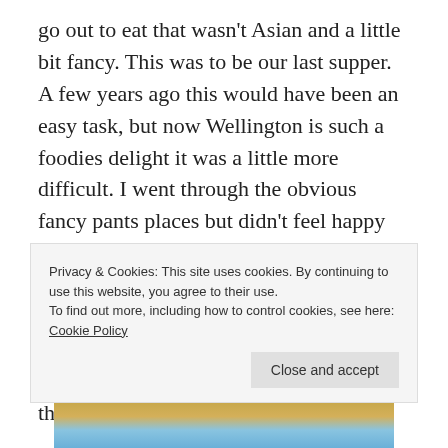go out to eat that wasn't Asian and a little bit fancy. This was to be our last supper. A few years ago this would have been an easy task, but now Wellington is such a foodies delight it was a little more difficult. I went through the obvious fancy pants places but didn't feel happy with any of them. Then Mr reminded me of how much I had talked about 'that place on the corner in Brooklyn' and the decision was made – The Salty Pidgin. The wonderful photo below is taken from the website
Privacy & Cookies: This site uses cookies. By continuing to use this website, you agree to their use. To find out more, including how to control cookies, see here: Cookie Policy
[Figure (photo): Partial view of a building photo at the bottom of the page, showing yellow/gold lower section and blue upper section (sky or building facade)]